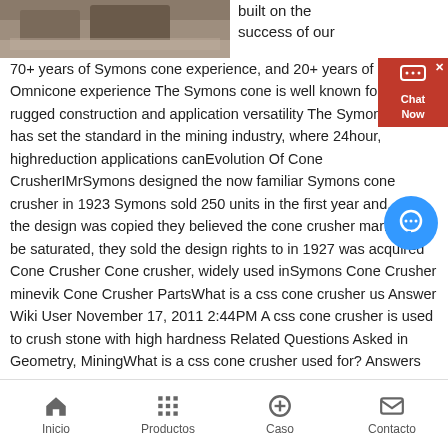[Figure (photo): Partial view of a cone crusher or mining machinery on dirt/gravel ground]
built on the success of our 70+ years of Symons cone experience, and 20+ years of Omnicone experience The Symons cone is well known for its rugged construction and application versatility The Symons cone has set the standard in the mining industry, where 24hour, highreduction applications canEvolution Of Cone CrusherIMrSymons designed the now familiar Symons cone crusher in 1923 Symons sold 250 units in the first year and, after the design was copied they believed the cone crusher market to be saturated, they sold the design rights to in 1927 was acquired Cone Crusher Cone crusher, widely used inSymons Cone Crusher minevik Cone Crusher PartsWhat is a css cone crusher us Answer Wiki User November 17, 2011 2:44PM A css cone crusher is used to crush stone with high hardness Related Questions Asked in Geometry, MiningWhat is a css cone crusher used for? Answers
Inicio   Productos   Caso   Contacto